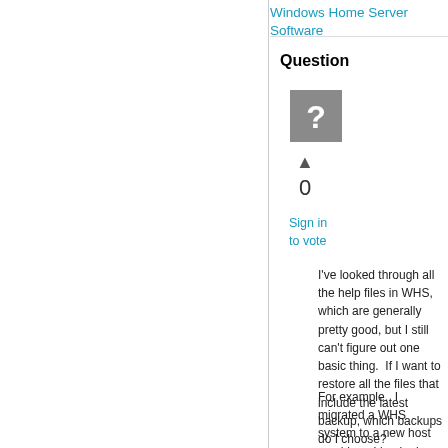Windows Home Server Software
Question
[Figure (other): Gray square icon with a white question mark]
▲
0
Sign in
to vote
I've looked through all the help files in WHS, which are generally pretty good, but I still can't figure out one basic thing.  If I want to restore all the files that include the latest backup, which backups do I choose?  Obviously I would choose the latest one at least, but do I have to restore the rest too?  Or will restoring the last one be sufficient?
For example.  I migrated a WHS system to a new host machine.  I backed up all the user files on a USB